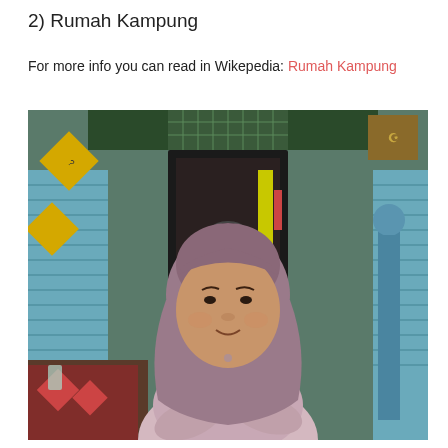2) Rumah Kampung
For more info you can read in Wikepedia: Rumah Kampung
[Figure (photo): A woman wearing a mauve/purple hijab and floral patterned long-sleeve top, sitting with arms crossed in front of a traditional Kampung house. The background shows blue wooden walls, a decorative door with latticework above, yellow diamond-shaped signs, and a blue decorative post on the right.]